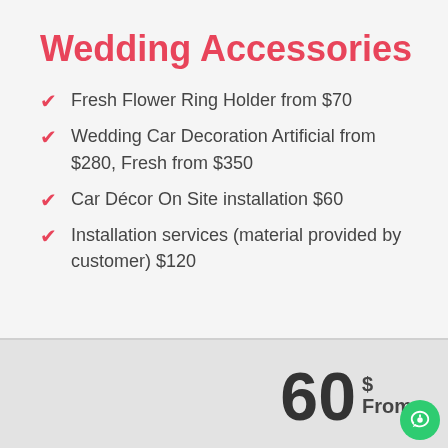Wedding Accessories
Fresh Flower Ring Holder from $70
Wedding Car Decoration Artificial from $280, Fresh from $350
Car Décor On Site installation $60
Installation services (material provided by customer) $120
60 $ From